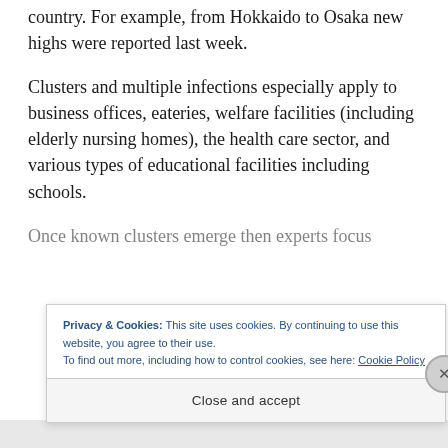country. For example, from Hokkaido to Osaka new highs were reported last week.
Clusters and multiple infections especially apply to business offices, eateries, welfare facilities (including elderly nursing homes), the health care sector, and various types of educational facilities including schools.
Once known clusters emerge then experts focus
Privacy & Cookies: This site uses cookies. By continuing to use this website, you agree to their use.
To find out more, including how to control cookies, see here: Cookie Policy
Close and accept